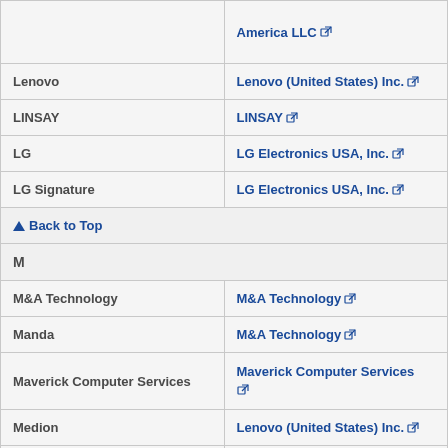| Brand/Trade Name | Responsible Party |
| --- | --- |
| (top partial row) | America LLC |
| Lenovo | Lenovo (United States) Inc. |
| LINSAY | LINSAY |
| LG | LG Electronics USA, Inc. |
| LG Signature | LG Electronics USA, Inc. |
| ▲Back to Top |  |
| M |  |
| M&A Technology | M&A Technology |
| Manda | M&A Technology |
| Maverick Computer Services | Maverick Computer Services |
| Medion | Lenovo (United States) Inc. |
| MicroAge, SuperMicro | Avinext |